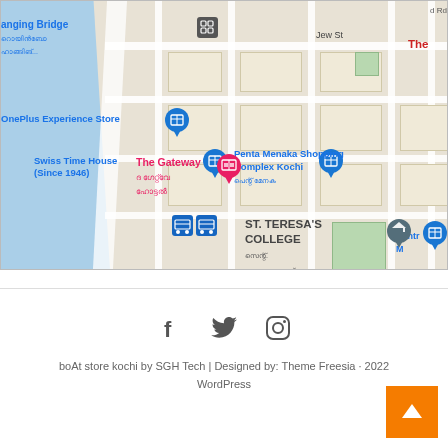[Figure (map): Google Maps screenshot showing an area of Kochi (Cochin), India. Notable landmarks visible include: Hanging Bridge, Swiss Time House (Since 1946), Penta Menaka Shopping Complex Kochi, OnePlus Experience Store, The Gateway hotel, ST. TERESA'S COLLEGE, GOODWILL COLLECTIONS. Streets include Jew St. The map shows a waterway (backwater/harbor) on the left side in blue.]
[Figure (infographic): Social media icons: Facebook (f), Twitter (bird), Instagram (camera)]
boAt store kochi by SGH Tech | Designed by: Theme Freesia · 2022 WordPress